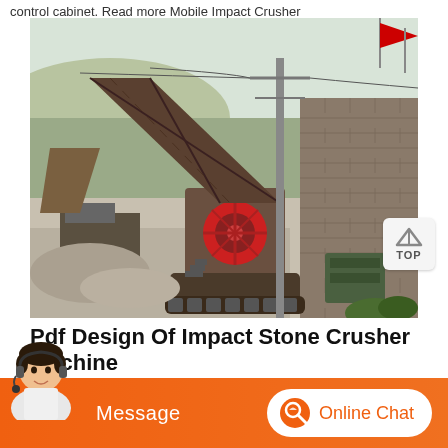control cabinet. Read more Mobile Impact Crusher
[Figure (photo): Outdoor industrial stone crushing plant site with heavy machinery including an impact crusher, conveyor belts, utility poles, red flags, and a brick building in the background.]
Pdf Design Of Impact Stone Crusher Machine
[Figure (other): Chat bar with Message button and Online Chat button, and customer service avatar]